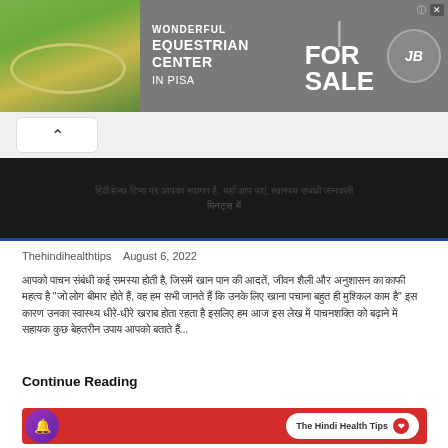[Figure (screenshot): Advertisement banner for 'Wonderful Equestrian Center in Pisa For Sale' with aerial photo of a horse racing track on the left, text in the center, and a logo on the right]
[Figure (screenshot): Navigation bar with a back/up chevron arrow button]
[Figure (screenshot): Dark background title banner with Hindi text in dark gray, and a blue bottom border]
Thehindihealthtips   August 6, 2022
Hindi body text paragraph in Devanagari script about health tips, ending with ellipsis...
Continue Reading
[Figure (screenshot): Red banner footer with 'The Hindi Health Tips' pill button and a purple bell notification button]